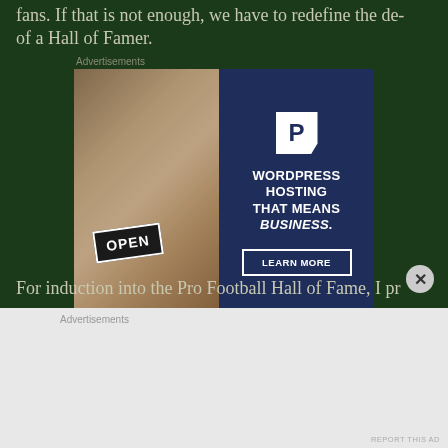fans. If that is not enough, we have to redefine the de... of a Hall of Famer.
[Figure (advertisement): WordPress Hosting advertisement showing a woman holding an OPEN sign on the left, and WordPress hosting text with LEARN MORE button on the right navy blue panel]
For induction into the Pro Football Hall of Fame, I pr...
[Figure (advertisement): Second advertisement block at the bottom of the page on light gray background]